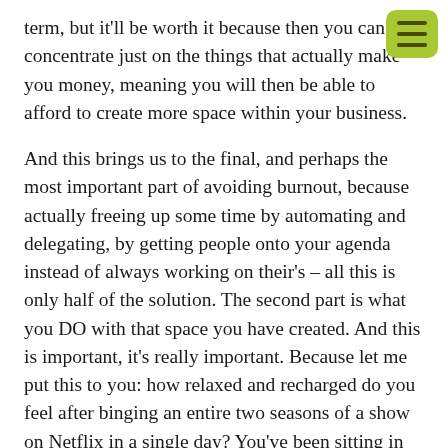term, but it'll be worth it because then you can concentrate just on the things that actually make you money, meaning you will then be able to afford to create more space within your business.
And this brings us to the final, and perhaps the most important part of avoiding burnout, because actually freeing up some time by automating and delegating, by getting people onto your agenda instead of always working on their's – all this is only half of the solution. The second part is what you DO with that space you have created. And this is important, it's really important. Because let me put this to you: how relaxed and recharged do you feel after binging an entire two seasons of a show on Netflix in a single day? You've been sitting in the dark all day just watching episode after episode. If you're anything like me, not really. Because that isn't recharging, that is hiding. Compare that with a day spent out in